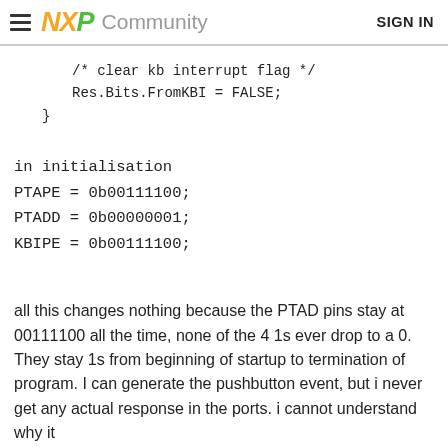NXP Community  SIGN IN
/* clear kb interrupt flag */
        Res.Bits.FromKBI = FALSE;
    }
in initialisation
PTAPE = 0b00111100;
PTADD = 0b00000001;
KBIPE = 0b00111100;
all this changes nothing because the PTAD pins stay at 00111100 all the time, none of the 4 1s ever drop to a 0. They stay 1s from beginning of startup to termination of program. I can generate the pushbutton event, but i never get any actual response in the ports. i cannot understand why it